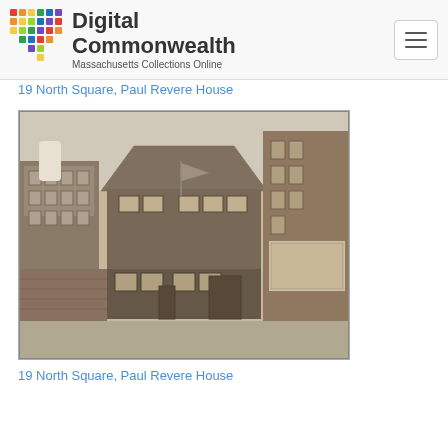Digital Commonwealth — Massachusetts Collections Online
19 North Square, Paul Revere House
[Figure (photo): Black and white photograph of 19 North Square, Paul Revere House, showing the historic building facade with a triangular roof, a flag, brick walls, and surrounding city buildings.]
19 North Square, Paul Revere House